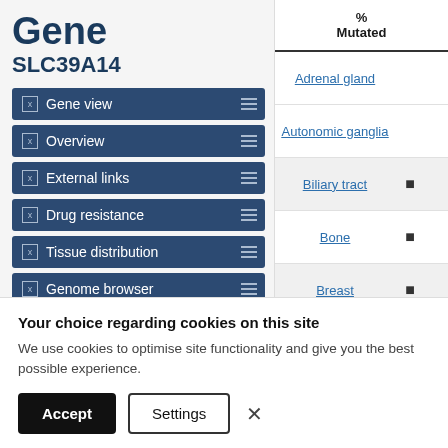Gene SLC39A14
Gene view
Overview
External links
Drug resistance
Tissue distribution
Genome browser
Mutation distribution
Variants
|  | % Mutated |
| --- | --- |
| Adrenal gland |  |
| Autonomic ganglia |  |
| Biliary tract | ■ |
| Bone | ■ |
| Breast | ■ |
| Central nervous system | ■ |
| Cervix | ■ |
Your choice regarding cookies on this site
We use cookies to optimise site functionality and give you the best possible experience.